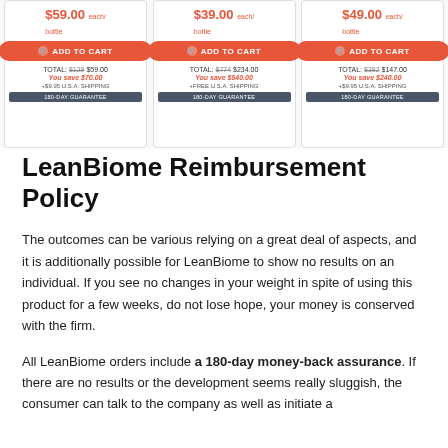[Figure (screenshot): Three product purchase cards showing prices: $59.00 each/bottle with ADD TO CART button, TOTAL: $129 $59.00, You save $70.00, +$9.95 U.S.A. Shipping, 180-DAY GUARANTEE; $39.00 each/bottle with ADD TO CART button, TOTAL: $774 $234.00, You save $540.00, +FREE U.S.A. SHIPPING, 180-DAY GUARANTEE; $49.00 each/bottle with ADD TO CART button, TOTAL: $382 $147.00, You save $240.00, +$9.95 U.S.A. Shipping, 180-DAY GUARANTEE]
LeanBiome Reimbursement Policy
The outcomes can be various relying on a great deal of aspects, and it is additionally possible for LeanBiome to show no results on an individual. If you see no changes in your weight in spite of using this product for a few weeks, do not lose hope, your money is conserved with the firm.
All LeanBiome orders include a 180-day money-back assurance. If there are no results or the development seems really sluggish, the consumer can talk to the company as well as initiate a